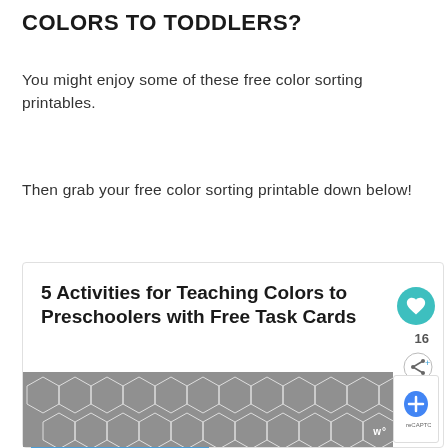COLORS TO TODDLERS?
You might enjoy some of these free color sorting printables.
Then grab your free color sorting printable down below!
[Figure (screenshot): Embedded content card showing '5 Activities for Teaching Colors to Preschoolers with Free Task Cards' with a heart button showing 16 saves, a share button, a thumbnail image of colorful blocks and a checkerboard pattern, and a text snippet reading 'The toddler and preschool years are the perfect tim...' with an ad banner at the bottom showing a gray hexagon/cube geometric pattern and a wordmark 'w°'.]